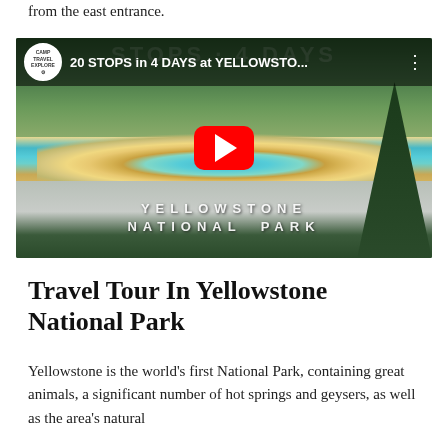from the east entrance.
[Figure (screenshot): YouTube video thumbnail showing Yellowstone National Park's Grand Prismatic Spring with forest backdrop, featuring YouTube play button overlay, channel logo for Camp Travel Explore, and title '20 STOPS in 4 DAYS at YELLOWSTO...' with text overlay reading 'YELLOWSTONE NATIONAL PARK']
Travel Tour In Yellowstone National Park
Yellowstone is the world's first National Park, containing great animals, a significant number of hot springs and geysers, as well as the area's natural